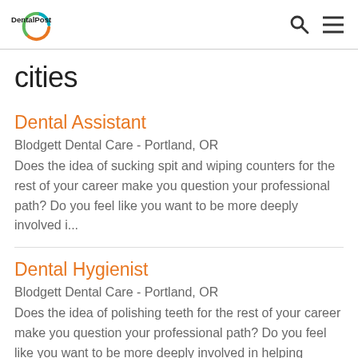DentalPost
cities
Dental Assistant
Blodgett Dental Care - Portland, OR
Does the idea of sucking spit and wiping counters for the rest of your career make you question your professional path? Do you feel like you want to be more deeply involved i...
Dental Hygienist
Blodgett Dental Care - Portland, OR
Does the idea of polishing teeth for the rest of your career make you question your professional path? Do you feel like you want to be more deeply involved in helping people...